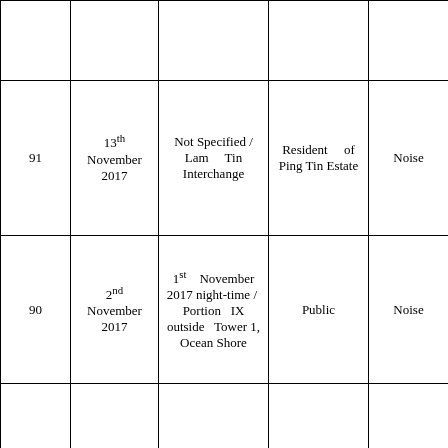|  |  |  |  |  |
| 91 | 13th November 2017 | Not Specified / Lam Tin Interchange | Resident of Ping Tin Estate | Noise |
| 90 | 2nd November 2017 | 1st November 2017 night-time / Portion IX outside Tower 1, Ocean Shore | Public | Noise |
|  |  |  |  |  |